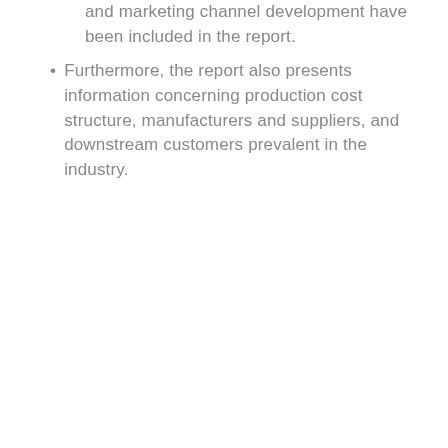and marketing channel development have been included in the report.
Furthermore, the report also presents information concerning production cost structure, manufacturers and suppliers, and downstream customers prevalent in the industry.